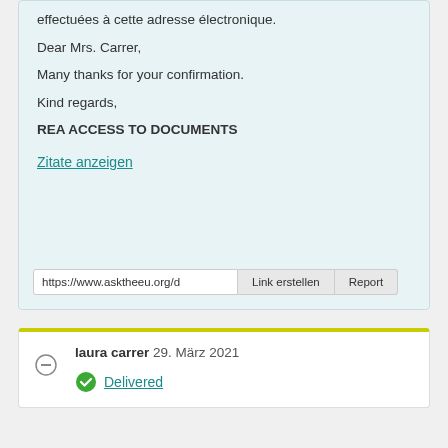effectuées à cette adresse électronique.
Dear Mrs. Carrer,
Many thanks for your confirmation.
Kind regards,
REA ACCESS TO DOCUMENTS
Zitate anzeigen
https://www.asktheeu.org/d
Link erstellen
Report
laura carrer 29. März 2021
Delivered